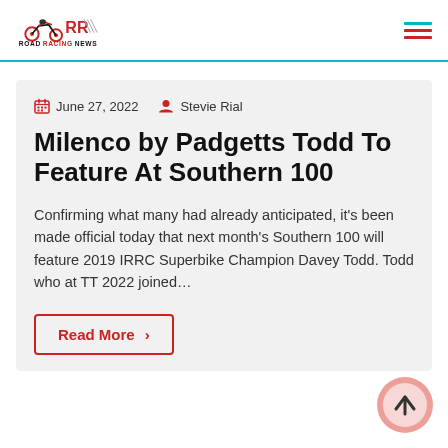Road Racing News
June 27, 2022  Stevie Rial
Milenco by Padgetts Todd To Feature At Southern 100
Confirming what many had already anticipated, it's been made official today that next month's Southern 100 will feature 2019 IRRC Superbike Champion Davey Todd. Todd who at TT 2022 joined…
Read More >